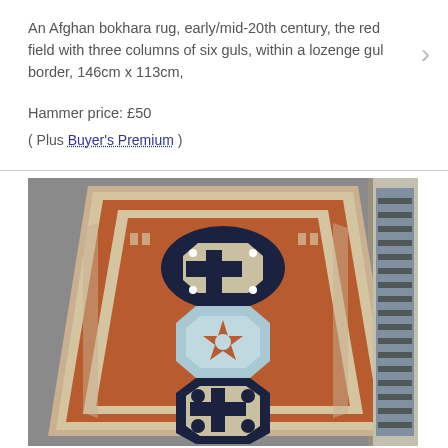An Afghan bokhara rug, early/mid-20th century, the red field with three columns of six guls, within a lozenge gul border, 146cm x 113cm,
Hammer price: £50
( Plus Buyer's Premium )
[Figure (photo): Photograph of an Afghan bokhara rug laid on a grey floor. The rug has a red/terracotta field with three large octagonal medallion guls arranged vertically - the top and bottom in dark navy/black with cream geometric patterns, and the middle one in light blue. The rug has a cream border with geometric lozenge patterns. A portion of another rug is visible on the right edge.]